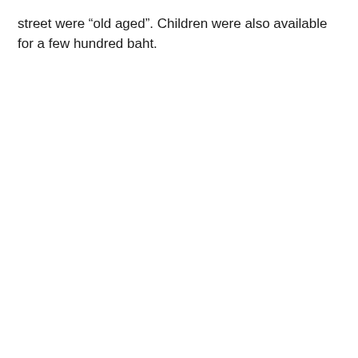street were “old aged”. Children were also available for a few hundred baht.